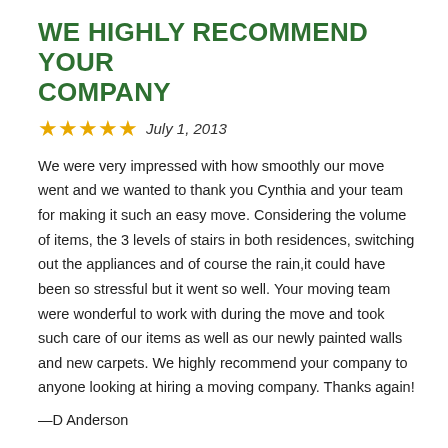WE HIGHLY RECOMMEND YOUR COMPANY
★★★★★ July 1, 2013
We were very impressed with how smoothly our move went and we wanted to thank you Cynthia and your team for making it such an easy move. Considering the volume of items, the 3 levels of stairs in both residences, switching out the appliances and of course the rain,it could have been so stressful but it went so well. Your moving team were wonderful to work with during the move and took such care of our items as well as our newly painted walls and new carpets. We highly recommend your company to anyone looking at hiring a moving company. Thanks again!
—D Anderson